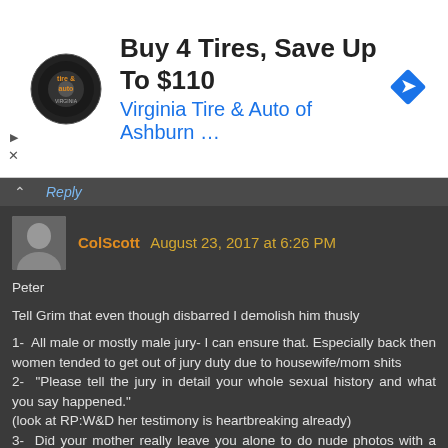[Figure (other): Advertisement banner: circular tire and auto logo on left, text 'Buy 4 Tires, Save Up To $110' in bold black and 'Virginia Tire & Auto of Ashburn ...' in blue, blue diamond directional icon on right]
Reply
ColScott  August 23, 2017 at 6:26 PM
Peter

Tell Grim that even though disbarred I demolish him thusly

1-  All male or mostly male jury- I can ensure that. Especially back then women tended to get out of jury duty due to housewife/mom shits
2-  "Please tell the jury in detail your whole sexual history and what you say happened."
(look at RP:W&D her testimony is heartbreaking already)
3-  Did your mother really leave you alone to do nude photos with a man older than your dad?
4-  Come on Samantha. Nothing happened right? You have had lots of boyfriends and your mom told us so...